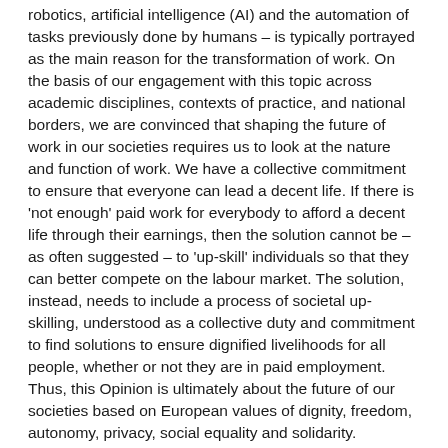robotics, artificial intelligence (AI) and the automation of tasks previously done by humans – is typically portrayed as the main reason for the transformation of work. On the basis of our engagement with this topic across academic disciplines, contexts of practice, and national borders, we are convinced that shaping the future of work in our societies requires us to look at the nature and function of work. We have a collective commitment to ensure that everyone can lead a decent life. If there is 'not enough' paid work for everybody to afford a decent life through their earnings, then the solution cannot be – as often suggested – to 'up-skill' individuals so that they can better compete on the labour market. The solution, instead, needs to include a process of societal up-skilling, understood as a collective duty and commitment to find solutions to ensure dignified livelihoods for all people, whether or not they are in paid employment. Thus, this Opinion is ultimately about the future of our societies based on European values of dignity, freedom, autonomy, privacy, social equality and solidarity.
ISSUES: Economics, Technological innovation
REGIONS: Europe, Global
YEAR PUBLISHED: 2018
INSTITUTIONS: European Group on Ethics in Science and New